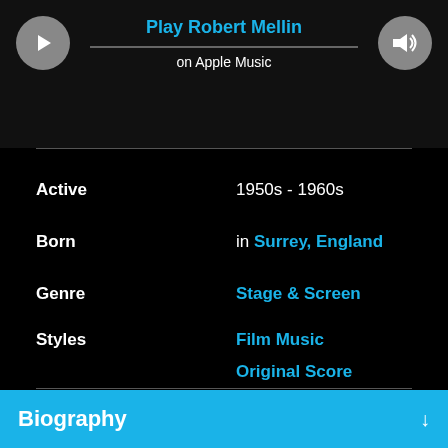[Figure (screenshot): Music player bar with play button, progress bar, volume button. Title: Play Robert Mellin on Apple Music]
Active: 1950s - 1960s
Born: in Surrey, England
Genre: Stage & Screen
Styles: Film Music, Original Score, Soundtracks, TV Soundtracks
Biography